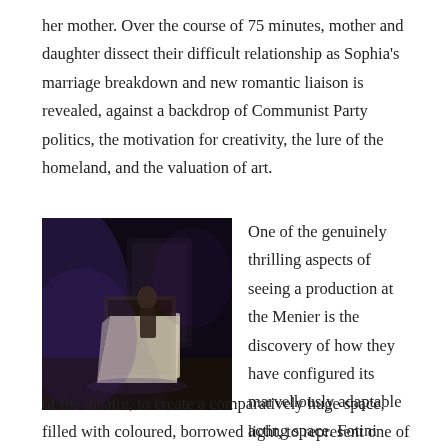her mother. Over the course of 75 minutes, mother and daughter dissect their difficult relationship as Sophia's marriage breakdown and new romantic liaison is revealed, against a backdrop of Communist Party politics, the motivation for creativity, the lure of the homeland, and the valuation of art.
[Figure (photo): A theatrical stage photo showing a performer on a darkened stage next to a draped piece of furniture or piano, lit with dramatic purple/blue stage lighting.]
One of the genuinely thrilling aspects of seeing a production at the Menier is the discovery of how they have configured its marvellously adaptable acting space. Fotini Dimou's set has required the 200-or-so seats to be re-arranged, L-shaped, on just two sides of the theatre, to create a comparatively huge space, filled with coloured, borrowed light, to represent one of those